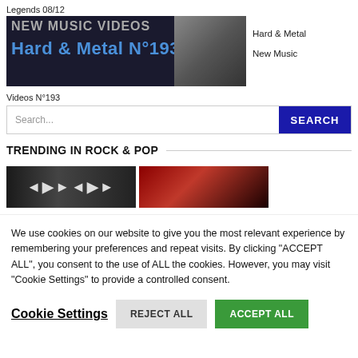Legends 08/12
[Figure (screenshot): Thumbnail image showing 'NEW MUSIC VIDEOS Hard & Metal N°193' text overlay with a person in background]
Hard & Metal
New Music
Videos N°193
Search...
TRENDING IN ROCK & POP
[Figure (screenshot): Trending section showing partially visible band logo image and a dark red image thumbnail, with 'Paco De' text partially visible]
We use cookies on our website to give you the most relevant experience by remembering your preferences and repeat visits. By clicking "ACCEPT ALL", you consent to the use of ALL the cookies. However, you may visit "Cookie Settings" to provide a controlled consent.
Cookie Settings
REJECT ALL
ACCEPT ALL